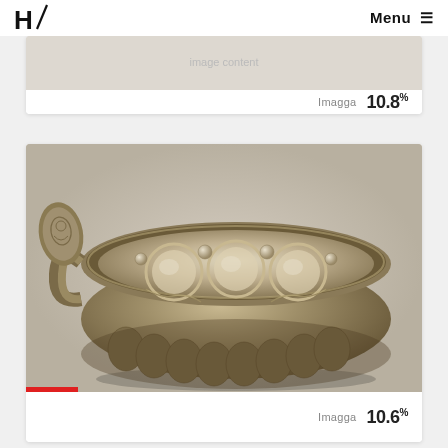H / Menu ≡
[Figure (photo): Partially visible photo, first card (cropped at top)]
Imagga  10.8%
[Figure (photo): Decorative metallic bowl with handle, ornate circular embossed patterns on interior, brownish patina, photographed from above at slight angle]
Imagga  10.6%